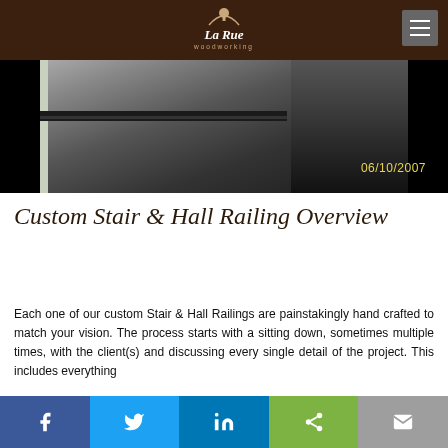La Rue Woodworking
[Figure (photo): Close-up photo of a dark wooden stair railing or step, with a yellow timestamp '06/10/2007' in the bottom right corner.]
Custom Stair & Hall Railing Overview
Each one of our custom Stair & Hall Railings are painstakingly hand crafted to match your vision. The process starts with a sitting down, sometimes multiple times, with the client(s) and discussing every single detail of the project. This includes everything
Facebook Twitter LinkedIn Share Email